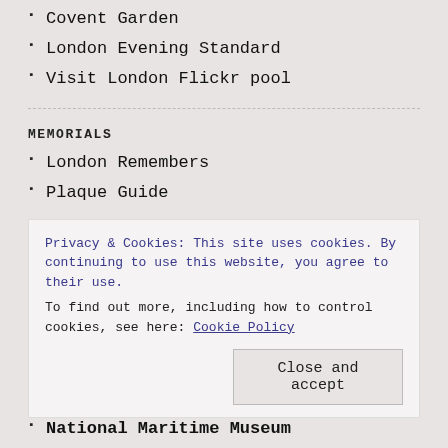Covent Garden
London Evening Standard
Visit London Flickr pool
MEMORIALS
London Remembers
Plaque Guide
MUSEUMS
British Museum
Dr Johnson's House
National Maritime Museum
Privacy & Cookies: This site uses cookies. By continuing to use this website, you agree to their use.
To find out more, including how to control cookies, see here: Cookie Policy
Close and accept